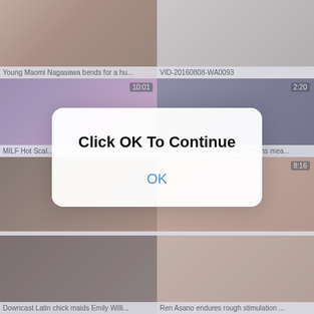[Figure (screenshot): Video thumbnail grid with 8 adult video thumbnails arranged in 2 columns and 4 rows, with titles below each thumbnail and duration overlays. A modal dialog overlays the center reading 'Click OK To Continue' with an OK button.]
Young Maomi Nagasawa bends for a hu...
VID-20160808-WA0093
10:01
2:20
MILF Hot Scal...
...slut with regard to big ass moans mea...
Click OK To Continue
OK
8:16
Downcast Latin chick maids Emily Willi...
Ren Asano endures rough stimulation ...